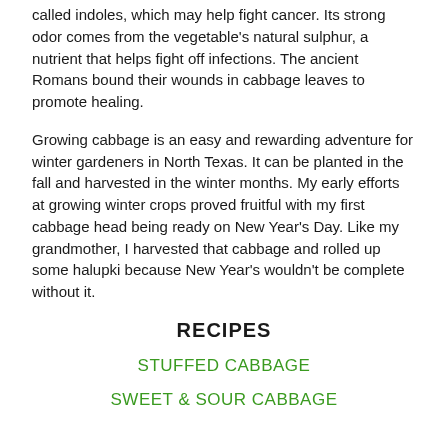called indoles, which may help fight cancer. Its strong odor comes from the vegetable's natural sulphur, a nutrient that helps fight off infections. The ancient Romans bound their wounds in cabbage leaves to promote healing.
Growing cabbage is an easy and rewarding adventure for winter gardeners in North Texas. It can be planted in the fall and harvested in the winter months. My early efforts at growing winter crops proved fruitful with my first cabbage head being ready on New Year's Day. Like my grandmother, I harvested that cabbage and rolled up some halupki because New Year's wouldn't be complete without it.
RECIPES
STUFFED CABBAGE
SWEET & SOUR CABBAGE